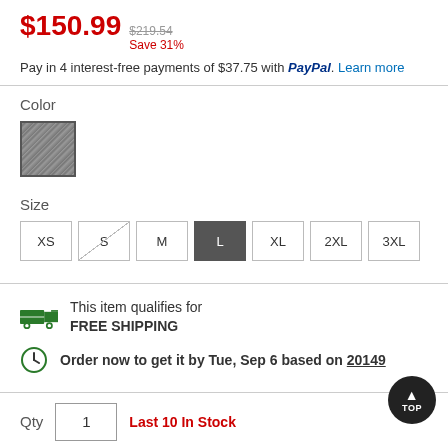$150.99  $219.54 crossed out  Save 31%
Pay in 4 interest-free payments of $37.75 with PayPal. Learn more
Color
[Figure (other): Gray color swatch with dark border, selected]
Size
[Figure (other): Size selector buttons: XS, S (unavailable/crossed), M, L (selected/dark), XL, 2XL, 3XL]
This item qualifies for FREE SHIPPING
Order now to get it by Tue, Sep 6 based on 20149
Qty  1  Last 10 In Stock